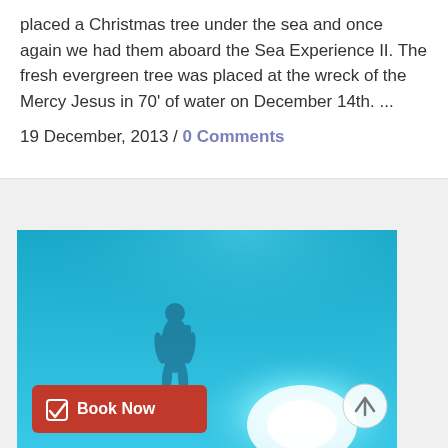placed a Christmas tree under the sea and once again we had them aboard the Sea Experience II. The fresh evergreen tree was placed at the wreck of the Mercy Jesus in 70' of water on December 14th. ...
19 December, 2013 / 0 Comments
[Figure (photo): Underwater photograph with blue water background showing a diver silhouette, a bright glowing light source, with a red 'Book Now' button overlay and a circular scroll-up arrow button]